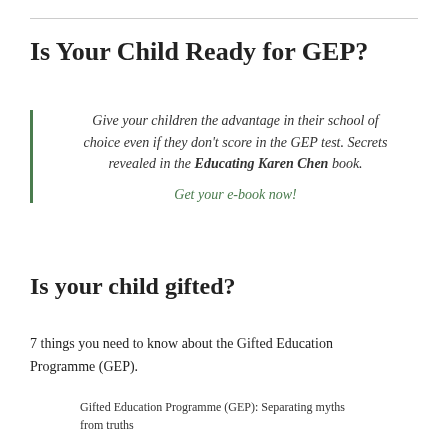Is Your Child Ready for GEP?
Give your children the advantage in their school of choice even if they don't score in the GEP test. Secrets revealed in the Educating Karen Chen book.

Get your e-book now!
Is your child gifted?
7 things you need to know about the Gifted Education Programme (GEP).
Gifted Education Programme (GEP): Separating myths from truths